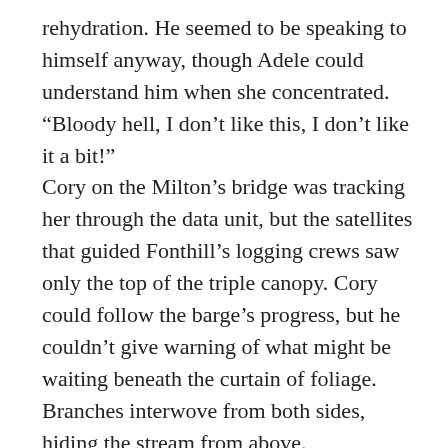rehydration. He seemed to be speaking to himself anyway, though Adele could understand him when she concentrated. “Bloody hell, I don’t like this, I don’t like it a bit!” Cory on the Milton’s bridge was tracking her through the data unit, but the satellites that guided Fonthill’s logging crews saw only the top of the triple canopy. Cory could follow the barge’s progress, but he couldn’t give warning of what might be waiting beneath the curtain of foliage. Branches interwove from both sides, hiding the stream from above. Four-legged, four-winged, insectoids swarmed up from rafts of algae and landed on the passengers. They didn’t bite or sting, but the touch of their feet itched and might raise welts in the course of time. Since all the vegetation